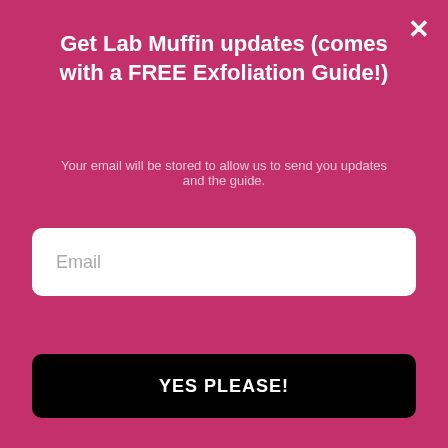[Figure (screenshot): Email signup modal popup with pink/magenta background. Title: 'Get Lab Muffin updates (comes with a FREE Exfoliation Guide!)'. Subtitle: 'Your email will be stored to allow us to send you updates and the guide.' White email input field with placeholder 'Email'. Black button labeled 'YES PLEASE!'. Close button (×) in top right corner.]
siloxanes to achieve water resistance and the latter cannot be effectively removed by surfactants in a standard cleanser.
Reply
Michelle
[Figure (infographic): Ad banner: SHE CAN STEM with Learn More button, STEM logo grid, Ad Council logo, and X mark logo on dark navy background.]